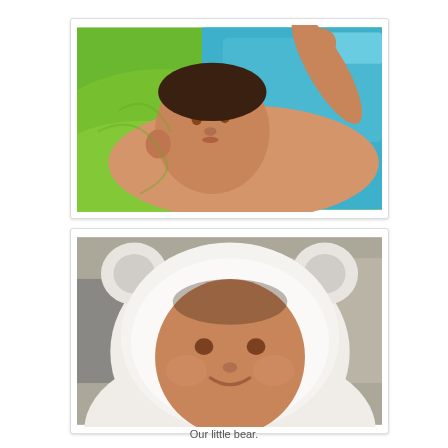[Figure (photo): A baby lying on its back in a bath seat with green and blue colors, arm raised up, looking at camera.]
[Figure (photo): A baby wearing a white fluffy bear-eared hooded outfit, close-up portrait, slight smile.]
Our little bear.